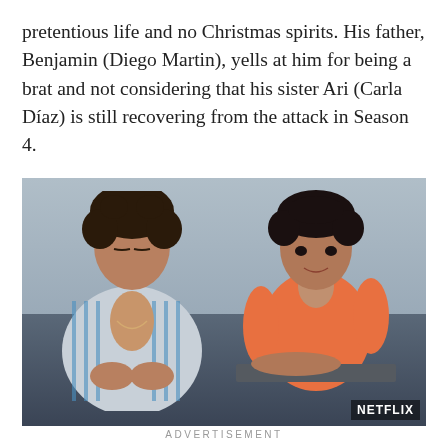pretentious life and no Christmas spirits. His father, Benjamin (Diego Martin), yells at him for being a brat and not considering that his sister Ari (Carla Díaz) is still recovering from the attack in Season 4.
[Figure (photo): Two young actors sitting outdoors against a building. On the left, a young man with curly hair wearing an open striped jacket showing his chest, holding something in his hands. On the right, a young woman with short dark hair wearing an orange/coral fitted top, leaning on what appears to be a car or surface. Netflix watermark in bottom right corner.]
ADVERTISEMENT